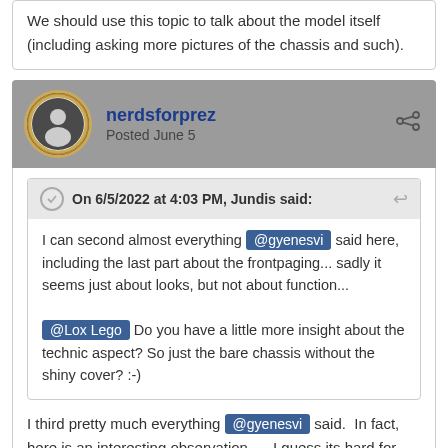We should use this topic to talk about the model itself (including asking more pictures of the chassis and such).
nerdsforprez
Posted June 5
On 6/5/2022 at 4:03 PM, Jundis said:
I can second almost everything @gyenesvi said here, including the last part about the frontpaging... sadly it seems just about looks, but not about function...
@Lox Lego Do you have a little more insight about the technic aspect? So just the bare chassis without the shiny cover? :-)
I third pretty much everything @gyenesvi said. In fact, here is an interesting observation..... I guess its hard for TLG to approach their UCS cars as anything other than simply sensationalist, good-looking, nontechnical self queens when we kinda do the same thing. Get a good-looking, but technically